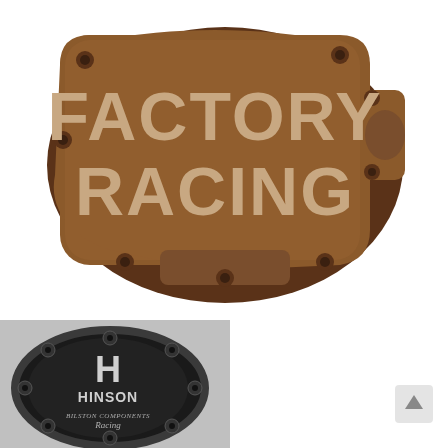[Figure (photo): Brown/copper colored motorcycle engine clutch cover with 'FACTORY RACING' text embossed in lighter color, with bolt holes around the perimeter. Rounded rectangular shape with mounting tab on right side.]
[Figure (photo): Black anodized round motorcycle clutch cover with Hinson brand logo: large 'H' letter above 'HINSON' text and 'BILSTON COMPONENTS Racing' script text. Multiple bolt holes around the circular rim.]
[Figure (illustration): Small gray scroll-to-top arrow icon in bottom right area.]